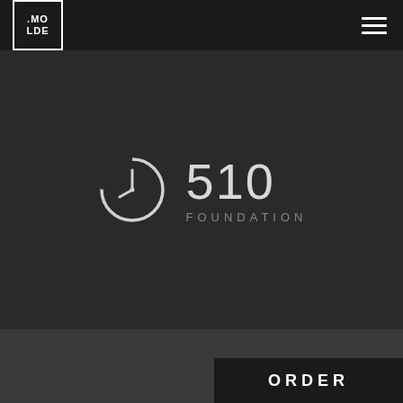.MOLDE
[Figure (logo): 510 Foundation brand logo with clock/timer circle icon on the left and '510' large number text with 'FOUNDATION' subtitle on the right]
ORDER